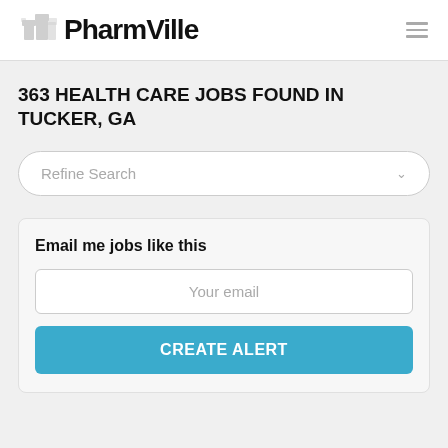PharmVille
363 HEALTH CARE JOBS FOUND IN TUCKER, GA
Refine Search
Email me jobs like this
Your email
CREATE ALERT